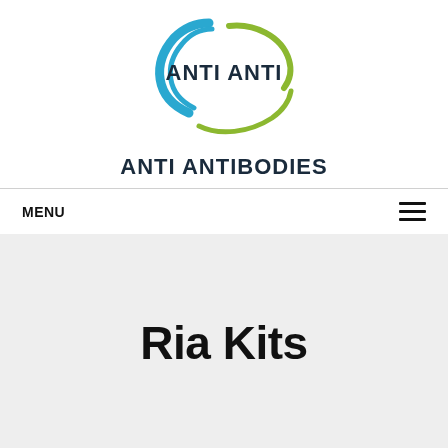[Figure (logo): Anti Anti logo with blue curved bracket/swoosh and olive green wing accent, text 'ANTI ANTI' in dark blue bold letters inside the logo graphic]
ANTI ANTIBODIES
MENU
Ria Kits